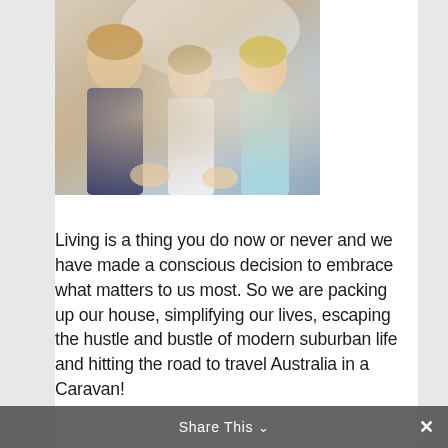[Figure (photo): Partial photograph showing a woman with children, outdoors in bright light, upper portions of figures visible]
Living is a thing you do now or never and we have made a conscious decision to embrace what matters to us most. So we are packing up our house, simplifying our lives, escaping the hustle and bustle of modern suburban life and hitting the road to travel Australia in a Caravan!
Our kids are growing up fast and we want to enjoy them and believe that creating memories together is the most important thing. This lifestyle will allow us to swim in the ocean daily, chase the sun, be sandy and
Share This ×